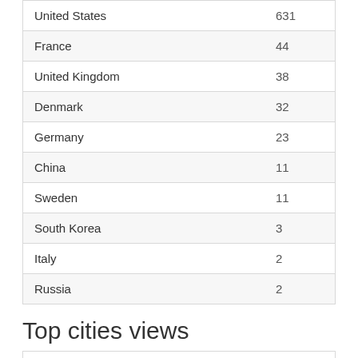| Country | Views |
| --- | --- |
| United States | 631 |
| France | 44 |
| United Kingdom | 38 |
| Denmark | 32 |
| Germany | 23 |
| China | 11 |
| Sweden | 11 |
| South Korea | 3 |
| Italy | 2 |
| Russia | 2 |
Top cities views